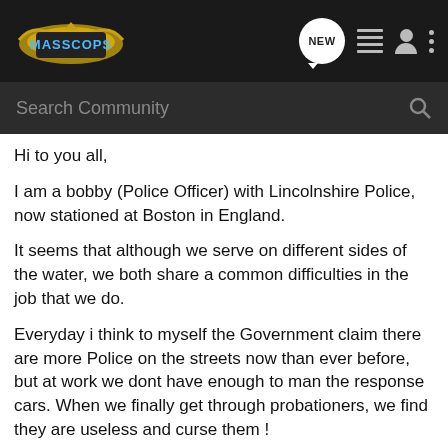MASSCOPS — navigation bar with NEW, list, profile, and menu icons
Search Community
Hi to you all,
I am a bobby (Police Officer) with Lincolnshire Police, now stationed at Boston in England.
It seems that although we serve on different sides of the water, we both share a common difficulties in the job that we do.
Everyday i think to myself the Government claim there are more Police on the streets now than ever before, but at work we dont have enough to man the response cars. When we finally get through probationers, we find they are useless and curse them !
When we are finally making headway in our fight against crime, new laws are passed to give them more freedom, and us more restrictions.